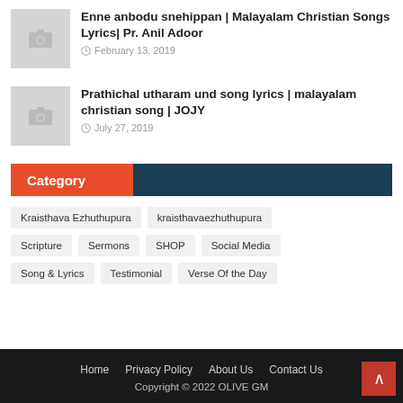[Figure (photo): Placeholder thumbnail with camera icon for article 1]
Enne anbodu snehippan | Malayalam Christian Songs Lyrics| Pr. Anil Adoor
February 13, 2019
[Figure (photo): Placeholder thumbnail with camera icon for article 2]
Prathichal utharam und song lyrics | malayalam christian song | JOJY
July 27, 2019
Category
Kraisthava Ezhuthupura
kraisthavaezhuthupura
Scripture
Sermons
SHOP
Social Media
Song & Lyrics
Testimonial
Verse Of the Day
Home  Privacy Policy  About Us  Contact Us  Copyright © 2022 OLIVE GM